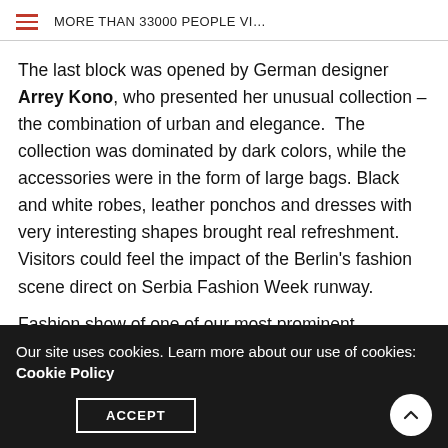MORE THAN 33000 PEOPLE VI...
The last block was opened by German designer Arrey Kono, who presented her unusual collection – the combination of urban and elegance.  The collection was dominated by dark colors, while the accessories were in the form of large bags. Black and white robes, leather ponchos and dresses with very interesting shapes brought real refreshment. Visitors could feel the impact of the Berlin's fashion scene direct on Serbia Fashion Week runway.
Fashion show of one of our most prominent designers
Our site uses cookies. Learn more about our use of cookies: Cookie Policy
ACCEPT